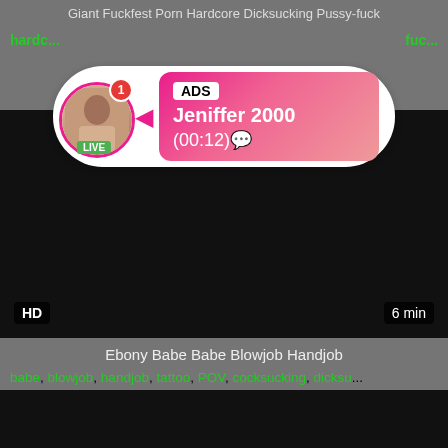Giant Fuckfest Porn Hardcore Dicksucking Pussy-fuck
hardc... fuc...
[Figure (screenshot): Advertisement overlay with avatar of woman labeled LIVE, ADS badge, name Jeniffer 2000, timer (00:12)]
[Figure (screenshot): Black video thumbnail with HD badge and 6 min duration label]
Ebony Babe Babe Blowjob Handjob
babe, blowjob, handjob, tattoo, POV, cocksucking, dicksu...
[Figure (screenshot): Black video thumbnail, second video]